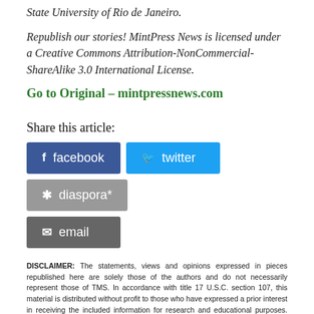State University of Rio de Janeiro.
Republish our stories! MintPress News is licensed under a Creative Commons Attribution-NonCommercial-ShareAlike 3.0 International License.
Go to Original – mintpressnews.com
Share this article:
[Figure (infographic): Social share buttons: facebook, twitter, diaspora*, email]
DISCLAIMER: The statements, views and opinions expressed in pieces republished here are solely those of the authors and do not necessarily represent those of TMS. In accordance with title 17 U.S.C. section 107, this material is distributed without profit to those who have expressed a prior interest in receiving the included information for research and educational purposes. TMS has no affiliation whatsoever with the originator of this article nor is TMS endorsed or sponsored by the originator. "GO TO ORIGINAL" links are provided as a convenience to our readers and allow for verification of authenticity. However, as originating pages are often updated by their originating host sites, the versions posted may not match the versions our readers view when clicking the "GO TO ORIGINAL" links. This site contains copyrighted material the use of which has not always